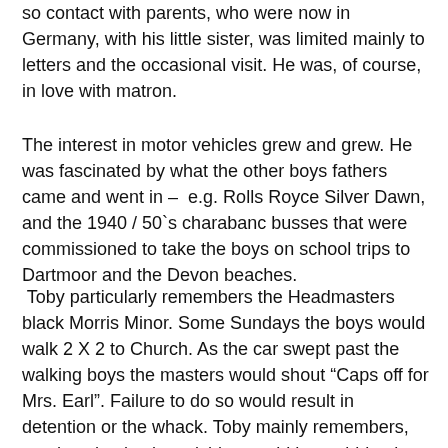so contact with parents, who were now in Germany, with his little sister, was limited mainly to letters and the occasional visit. He was, of course, in love with matron.
The interest in motor vehicles grew and grew. He was fascinated by what the other boys fathers came and went in – e.g. Rolls Royce Silver Dawn, and the 1940 / 50`s charabanc busses that were commissioned to take the boys on school trips to Dartmoor and the Devon beaches.
Toby particularly remembers the Headmasters black Morris Minor. Some Sundays the boys would walk 2 X 2 to Church. As the car swept past the walking boys the masters would shout "Caps off for Mrs. Earl". Failure to do so would result in detention or the whack. Toby mainly remembers, not the whacks, but wishing could have ridden in the car. To this day he will always raise his hat to a passing female.